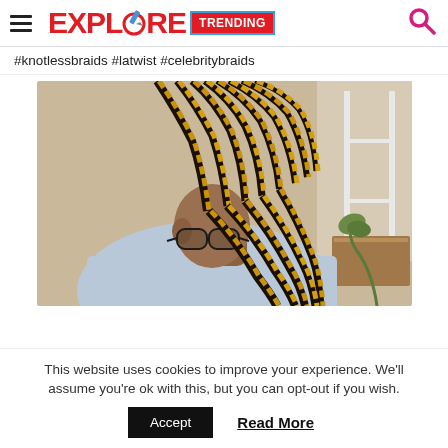EXPLORE TRENDING
#knotlessbraids #latwist #celebritybraids
[Figure (photo): Close-up photo of a person with gold and dark knotless box braids, wearing glasses, viewed from the side, wearing a light blue top, with a white shelf and plant visible in the background.]
This website uses cookies to improve your experience. We'll assume you're ok with this, but you can opt-out if you wish.
Accept   Read More